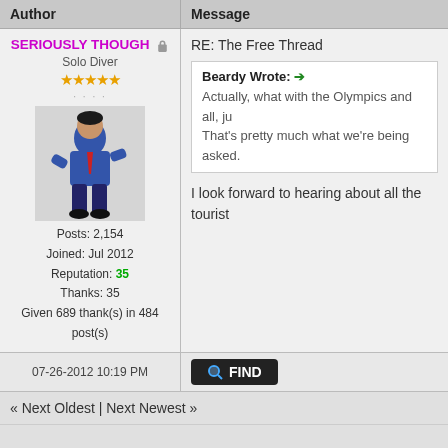| Author | Message |
| --- | --- |
| SERIOUSLY THOUGH
Solo Diver
★★★★★
Posts: 2,154
Joined: Jul 2012
Reputation: 35
Thanks: 35
Given 689 thank(s) in 484 post(s) | RE: The Free Thread
[Beardy Wrote: → Actually, what with the Olympics and all, ju... That's pretty much what we're being asked.]
I look forward to hearing about all the tourist... |
07-26-2012 10:19 PM
« Next Oldest | Next Newest »
Messages In This Thread
The Free Thread - The Antagonist - 06-28-2012, 10:17 PM
RE: SpamBox - Nuudoru - 06-28-2012, 10:28 PM
RE: SpamBox - DidYouKnowGaming - 06-28-2012, 10:51 PM